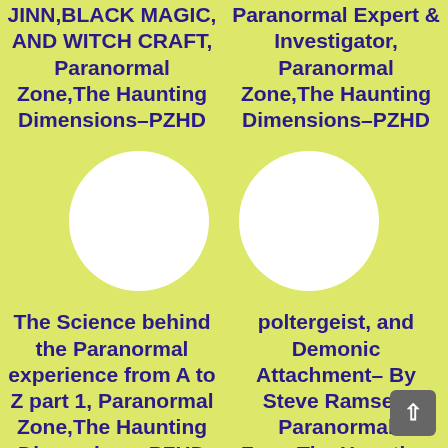JINN,BLACK MAGIC, AND WITCH CRAFT, Paranormal Zone,The Haunting Dimensions–PZHD
Paranormal Expert & Investigator, Paranormal Zone,The Haunting Dimensions–PZHD
[Figure (illustration): White circle on yellow-green background (placeholder/avatar image)]
[Figure (illustration): White circle on yellow-green background (placeholder/avatar image)]
The Science behind the Paranormal experience from A to Z part 1, Paranormal Zone,The Haunting Dimensions–PZHD
poltergeist, and Demonic Attachment– By Steve Ramsey, Paranormal Zone,The Haunting Dimensions–PZHD